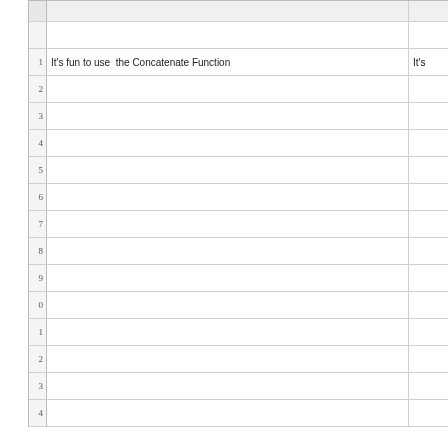|  | A | B |
| --- | --- | --- |
|  |  |  |
| 1 | It's fun to use  the Concatenate Function | It's |
| 2 |  |  |
| 3 |  |  |
| 4 |  |  |
| 5 |  |  |
| 6 |  |  |
| 7 |  |  |
| 8 |  |  |
| 9 |  |  |
| 10 |  |  |
| 11 |  |  |
| 12 |  |  |
| 13 |  |  |
| 14 |  |  |